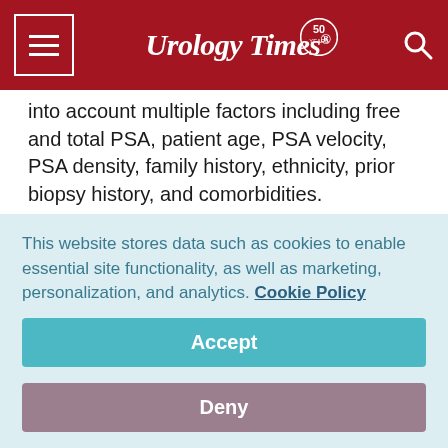Urology Times 50th
into account multiple factors including free and total PSA, patient age, PSA velocity, PSA density, family history, ethnicity, prior biopsy history, and comorbidities.
"A cancer cannot be treated if it is not detected. Not all prostate cancers require immediate treatment; active surveillance, in lieu of immediate treatment, is an option that should be considered for some men. Testing empowers patients and their urologists with the information to make an
This website stores data such as cookies to enable essential site functionality, as well as marketing, personalization, and analytics. Cookie Policy
Accept
Deny